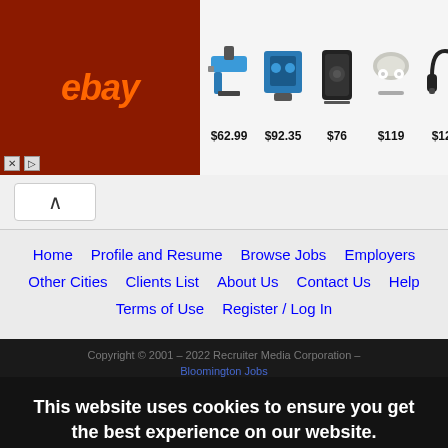[Figure (screenshot): eBay advertisement banner showing logo and 6 products with prices: $62.99, $92.35, $76, $119, $128, $399]
[Figure (other): Scroll-up chevron button in browser UI]
Home
Profile and Resume
Browse Jobs
Employers
Other Cities
Clients List
About Us
Contact Us
Help
Terms of Use
Register / Log In
Copyright © 2001 - 2022 Recruiter Media Corporation - Bloomington Jobs
This website uses cookies to ensure you get the best experience on our website.
Learn more
Got it!